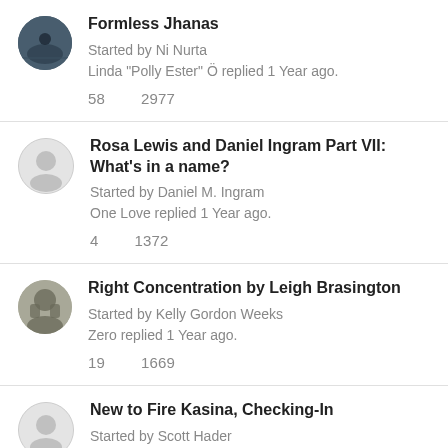Formless Jhanas
Started by Ni Nurta
Linda "Polly Ester" Ö replied 1 Year ago.
58  2977
Rosa Lewis and Daniel Ingram Part VII: What's in a name?
Started by Daniel M. Ingram
One Love replied 1 Year ago.
4  1372
Right Concentration by Leigh Brasington
Started by Kelly Gordon Weeks
Zero replied 1 Year ago.
19  1669
New to Fire Kasina, Checking-In
Started by Scott Hader
Saurabh Arvindbhai PARMAR replied 1